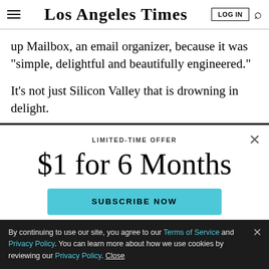Los Angeles Times
up Mailbox, an email organizer, because it was "simple, delightful and beautifully engineered."
It's not just Silicon Valley that is drowning in delight.
[Figure (photo): Dark image strip showing a partially visible image, likely a nighttime or dark-themed photo]
LIMITED-TIME OFFER
$1 for 6 Months
SUBSCRIBE NOW
By continuing to use our site, you agree to our Terms of Service and Privacy Policy. You can learn more about how we use cookies by reviewing our Privacy Policy. Close